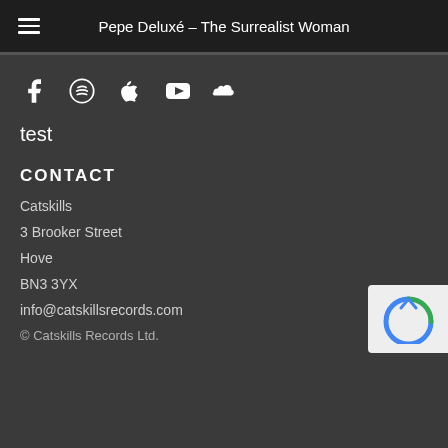Pepe Deluxé – The Surrealist Woman
[Figure (other): Social media icons: Facebook, Spotify, Apple Music, YouTube, SoundCloud]
test
CONTACT
Catskills
3 Brooker Street
Hove
BN3 3YX
info@catskillsrecords.com
© Catskills Records Ltd.